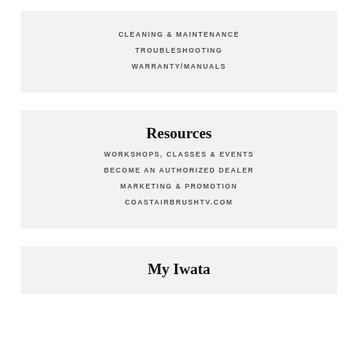CLEANING & MAINTENANCE
TROUBLESHOOTING
WARRANTY/MANUALS
Resources
WORKSHOPS, CLASSES & EVENTS
BECOME AN AUTHORIZED DEALER
MARKETING & PROMOTION
COASTAIRBRUSHTV.COM
My Iwata